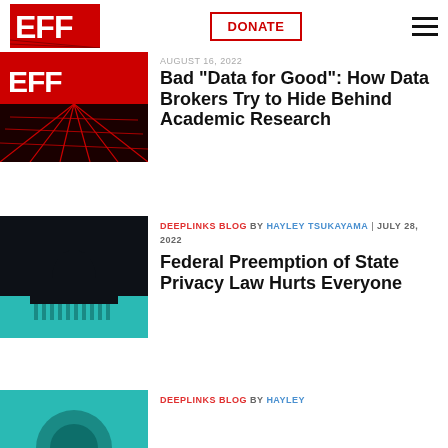EFF | DONATE | menu
[Figure (illustration): EFF logo with red grid lines graphic]
AUGUST 16, 2022
Bad "Data for Good": How Data Brokers Try to Hide Behind Academic Research
[Figure (illustration): US Capitol building silhouette on dark background with teal base]
DEEPLINKS BLOG BY HAYLEY TSUKAYAMA | JULY 28, 2022
Federal Preemption of State Privacy Law Hurts Everyone
[Figure (illustration): Partial thumbnail for third article]
DEEPLINKS BLOG BY HAYLEY